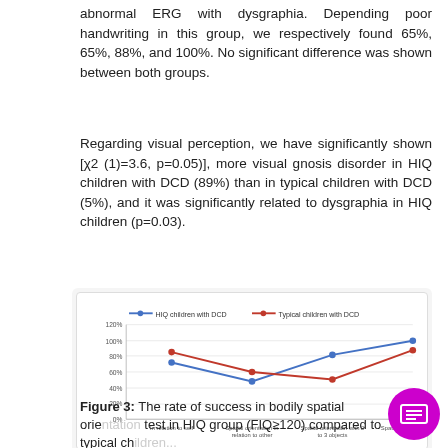abnormal ERG with dysgraphia. Depending poor handwriting in this group, we respectively found 65%, 65%, 88%, and 100%. No significant difference was shown between both groups.
Regarding visual perception, we have significantly shown [χ2 (1)=3.6, p=0.05)], more visual gnosis disorder in HIQ children with DCD (89%) than in typical children with DCD (5%), and it was significantly related to dysgraphia in HIQ children (p=0.03).
[Figure (line-chart): ]
Figure 3: The rate of success in bodily spatial orientation test in HIQ group (FIQ≥120) compared to typical ch...